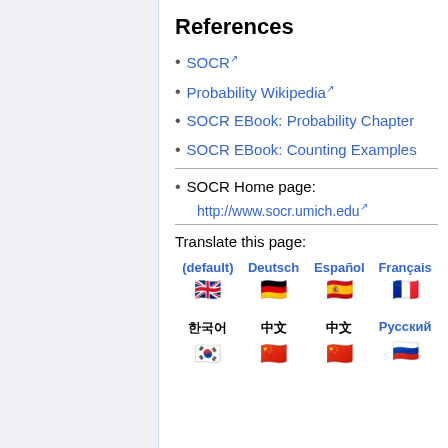References
SOCR
Probability Wikipedia
SOCR EBook: Probability Chapter
SOCR EBook: Counting Examples
SOCR Home page: http://www.socr.umich.edu
Translate this page:
(default) Deutsch Español Français It
한국어 中文 中文 Русский Ne